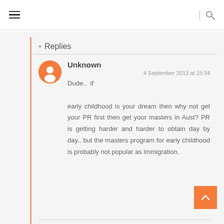≡  |  🔍
▾  Replies
Unknown
4 September 2013 at 15:34
Dude..  if

early childhood is your dream then why not get your PR first then get your masters in Aust? PR is getting harder and harder to obtain day by day.. but the masters program for early childhood is probably not popular as immigration.